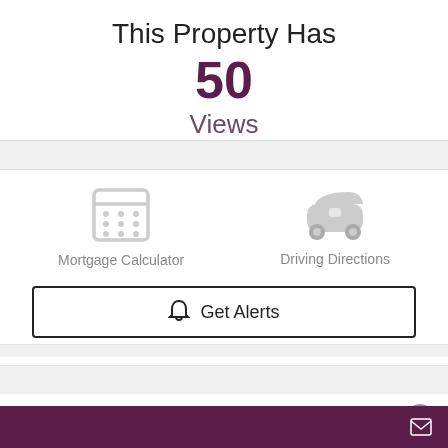This Property Has
50
Views
[Figure (illustration): Calculator icon (gray) with label 'Mortgage Calculator']
[Figure (illustration): Car/driving icon (gray) with label 'Driving Directions']
Get Alerts
Property Details